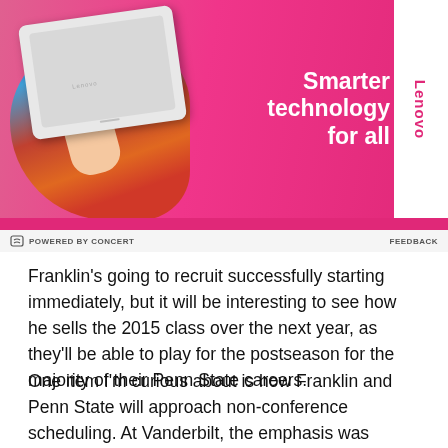[Figure (photo): Lenovo advertisement banner. Pink/magenta background with a person holding a white laptop. White sidebar on right with 'Lenovo' text rotated vertically. Text reads 'Smarter technology for all'.]
POWERED BY CONCERT   FEEDBACK
Franklin's going to recruit successfully starting immediately, but it will be interesting to see how he sells the 2015 class over the next year, as they'll be able to play for the postseason for the majority of their Penn State careers.
One item I'm curious about is how Franklin and Penn State will approach non-conference scheduling. At Vanderbilt, the emphasis was understandably on making a bowl game and hitting six wins above all else. That meant flushing bad existing contracts